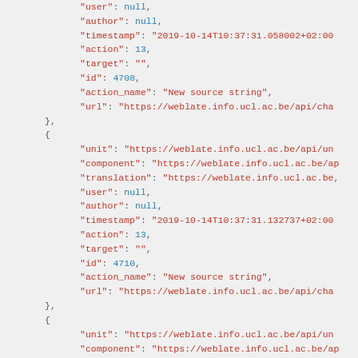JSON code snippet showing API change log entries with fields: user, author, timestamp, action, target, id, action_name, url for multiple objects.